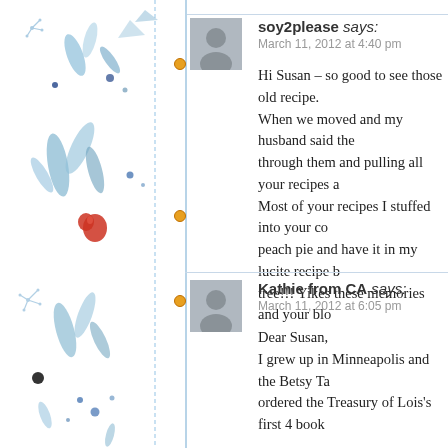[Figure (illustration): Left decorative sidebar with blue floral/botanical illustrations, dots, and a vertical blue dashed/dotted line with orange circle markers]
soy2please says:
March 11, 2012 at 4:40 pm

Hi Susan – so good to see those old recipe. When we moved and my husband said the through them and pulling all your recipes a Most of your recipes I stuffed into your co peach pie and have it in my lucite recipe b tree!!! Yikes these memories and your blo
Kathie from CA says:
March 11, 2012 at 6:05 pm

Dear Susan,
I grew up in Minneapolis and the Betsy Ta ordered the Treasury of Lois's first 4 book